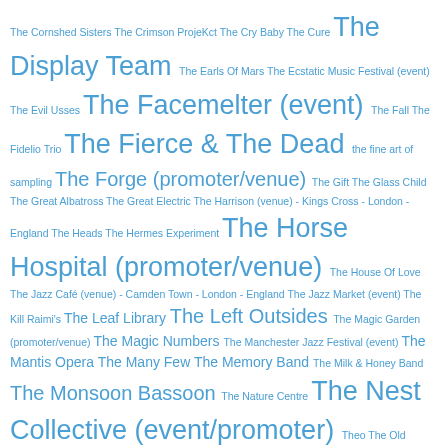The Cornshed Sisters The Crimson ProjeKct The Cry Baby The Cure The Display Team The Earls Of Mars The Ecstatic Music Festival (event) The Evil Usses The Facemelter (event) The Fall The Fidelio Trio The Fierce & The Dead the fine art of sampling The Forge (promoter/venue) The Gift The Glass Child The Great Albatross The Great Electric The Harrison (venue) - Kings Cross - London - England The Heads The Hermes Experiment The Horse Hospital (promoter/venue) The House Of Love The Jazz Café (venue) - Camden Town - London - England The Jazz Market (event) The Kill Raimi's The Leaf Library The Left Outsides The Magic Garden (promoter/venue) The Magic Numbers The Manchester Jazz Festival (event) The Mantis Opera The Many Few The Memory Band The Milk & Honey Band The Monsoon Bassoon The Nature Centre The Nest Collective (event/promoter) Theo The Old Church (venue) - Stoke Newington - London Theon Cross Theo Travis The Pictish Trail The Pocket Gods The Powdered Earth The Quietus (publication/event/label) The Real Music Club (event/promoter) theremin music The Residents The Scaramanga Six The Sea Nymphs The Sebright Arms (venue) - Bethnal